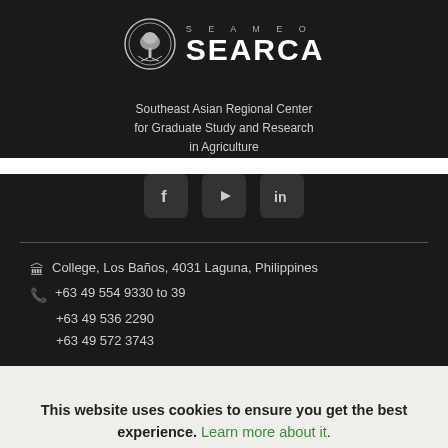[Figure (logo): SEARCA logo with circular emblem and SEAMEO SEARCA text]
Southeast Asian Regional Center for Graduate Study and Research in Agriculture
[Figure (infographic): Social media icons: Facebook, YouTube, LinkedIn]
College, Los Baños, 4031 Laguna, Philippines
+63 49 554 9330 to 39
+63 49 536 2290
+63 49 572 3743
This website uses cookies to ensure you get the best experience. Learn more about it.
OK